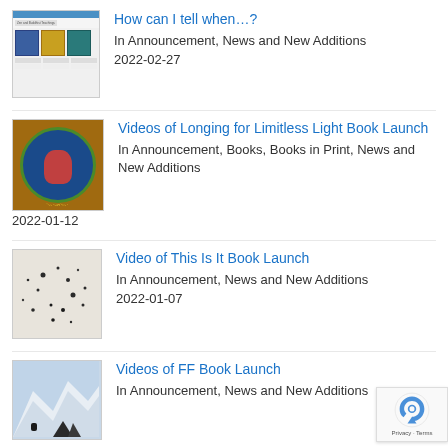[Figure (screenshot): Thumbnail of a website showing Zen and Buddhist Teachings with book covers]
How can I tell when…?
In Announcement, News and New Additions
2022-02-27
[Figure (illustration): Thanka painting of a red Buddhist figure on blue circular background with gold border, Tibetan text below]
Videos of Longing for Limitless Light Book Launch
In Announcement, Books, Books in Print, News and New Additions
2022-01-12
[Figure (photo): Light-colored background with scattered black ink spots or splatter marks]
Video of This Is It Book Launch
In Announcement, News and New Additions
2022-01-07
[Figure (photo): Mountain landscape with snow and a bird or small figure in foreground]
Videos of FF Book Launch
In Announcement, News and New Additions